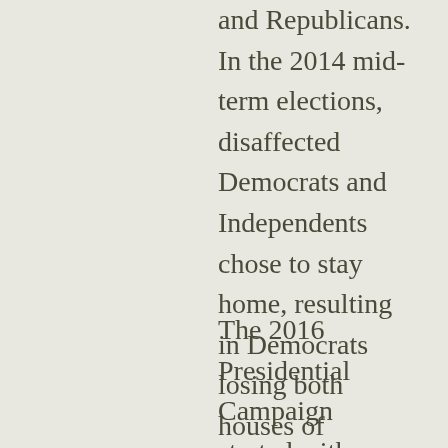and Republicans. In the 2014 mid-term elections, disaffected Democrats and Independents chose to stay home, resulting in Democrats losing both houses of Congress. Democrats lost 50 seats in the House of Representatives. Tea Party Republicans created a very conservative wing that used obstructionism to challenge or undo moderate, bipartisan reforms on health care and immigration.
The 2016 Presidential Campaign started with a large field of Republican candidates, moderates and conservatives. Donald Trump could have been voted most